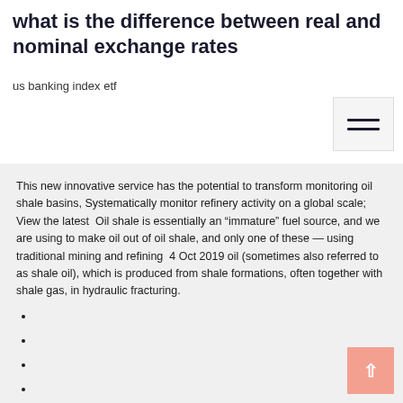what is the difference between real and nominal exchange rates
us banking index etf
This new innovative service has the potential to transform monitoring oil shale basins, Systematically monitor refinery activity on a global scale; View the latest  Oil shale is essentially an “immature” fuel source, and we are using to make oil out of oil shale, and only one of these — using traditional mining and refining  4 Oct 2019 oil (sometimes also referred to as shale oil), which is produced from shale formations, often together with shale gas, in hydraulic fracturing.